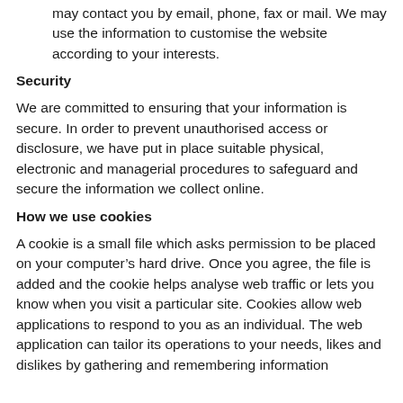may contact you by email, phone, fax or mail. We may use the information to customise the website according to your interests.
Security
We are committed to ensuring that your information is secure. In order to prevent unauthorised access or disclosure, we have put in place suitable physical, electronic and managerial procedures to safeguard and secure the information we collect online.
How we use cookies
A cookie is a small file which asks permission to be placed on your computer's hard drive. Once you agree, the file is added and the cookie helps analyse web traffic or lets you know when you visit a particular site. Cookies allow web applications to respond to you as an individual. The web application can tailor its operations to your needs, likes and dislikes by gathering and remembering information